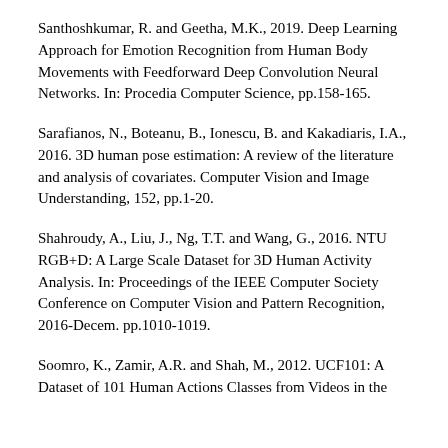Santhoshkumar, R. and Geetha, M.K., 2019. Deep Learning Approach for Emotion Recognition from Human Body Movements with Feedforward Deep Convolution Neural Networks. In: Procedia Computer Science, pp.158-165.
Sarafianos, N., Boteanu, B., Ionescu, B. and Kakadiaris, I.A., 2016. 3D human pose estimation: A review of the literature and analysis of covariates. Computer Vision and Image Understanding, 152, pp.1-20.
Shahroudy, A., Liu, J., Ng, T.T. and Wang, G., 2016. NTU RGB+D: A Large Scale Dataset for 3D Human Activity Analysis. In: Proceedings of the IEEE Computer Society Conference on Computer Vision and Pattern Recognition, 2016-Decem. pp.1010-1019.
Soomro, K., Zamir, A.R. and Shah, M., 2012. UCF101: A Dataset of 101 Human Actions Classes from Videos in the